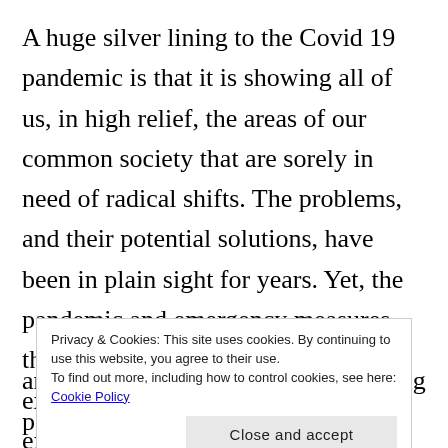A huge silver lining to the Covid 19 pandemic is that it is showing all of us, in high relief, the areas of our common society that are sorely in need of radical shifts. The problems, and their potential solutions, have been in plain sight for years. Yet, the pandemic and emergency measures that have been put into place have exposed vast inequalities in such an extreme way that it is impossible to continue to ignore them in the same ways as before. It has shown the public how vital having a social safety net is, just how vital essential
Privacy & Cookies: This site uses cookies. By continuing to use this website, you agree to their use.
To find out more, including how to control cookies, see here: Cookie Policy
Close and accept
and life will return to its usual bustling pace. But, life